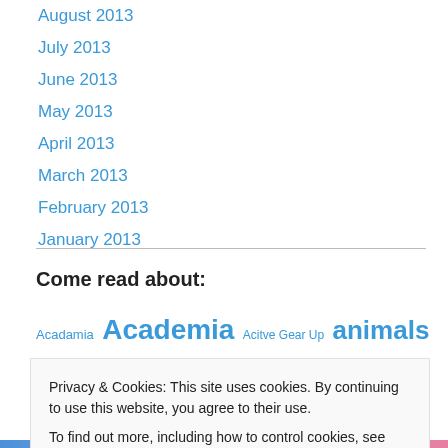August 2013
July 2013
June 2013
May 2013
April 2013
March 2013
February 2013
January 2013
Come read about:
Acadamia Academia Acitve Gear Up animals Antibiotics Beetle
Privacy & Cookies: This site uses cookies. By continuing to use this website, you agree to their use.
To find out more, including how to control cookies, see here: Cookie Policy
Close and accept